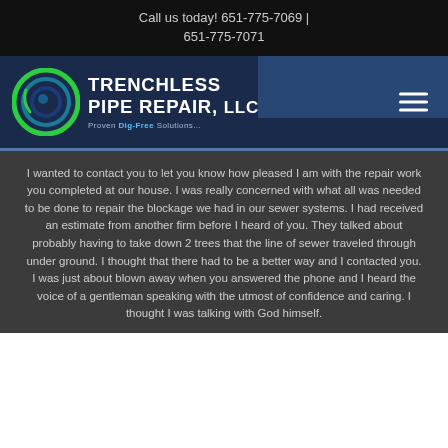Call us today! 651-775-7069 | 651-775-7071
[Figure (logo): Trenchless Pipe Repair LLC logo with green circular icon and white text. Tagline: Proven Dig-Free Solutions.]
I wanted to contact you to let you know how pleased I am with the repair work you completed at our house. I was really concerned with what all was needed to be done to repair the blockage we had in our sewer systems. I had received an estimate from another firm before I heard of you. They talked about probably having to take down 2 trees that the line of sewer traveled through under ground. I thought that there had to be a better way and I contacted you. I was just about blown away when you answered the phone and I heard the voice of a gentleman speaking with the utmost of confidence and caring. I thought I was talking with God himself.